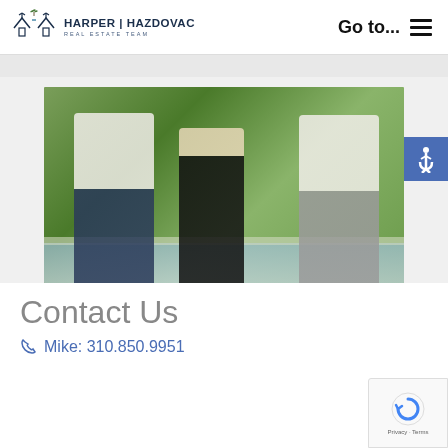HARPER | HAZDOVAC REAL ESTATE TEAM — Go to...
[Figure (photo): Team photo of three real estate agents (two men in white shirts and a woman in black) seated outdoors near a pool with greenery in the background]
Contact Us
Mike: 310.850.9951